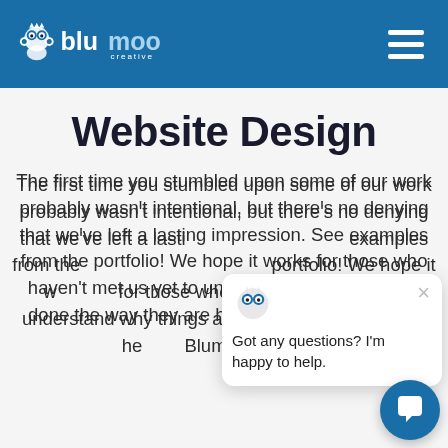[Figure (logo): Blumoo Creative logo – white text on blue header background with cartoon character icon]
Website Design
The first time you stumbled upon some of our work probably wasn't intentional, but there's no denying that we've left a lasting impression. See examples from the portfolio! We hope it works for those who haven't met us yet to understand why things are done the way they are here at Blumoo Creative.
[Figure (screenshot): Chat popup overlay with Blumoo mascot icon and text: Got any questions? I'm happy to help.]
[Figure (illustration): Chat button bubble in bottom-right corner]